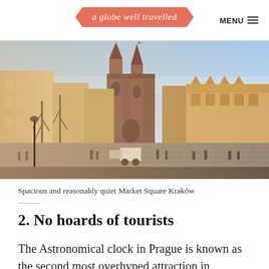a globe well travelled | MENU
[Figure (photo): Wide panoramic view of Market Square Kraków showing the Gothic St. Mary's Basilica towers in the background, the Renaissance Cloth Hall on the right, cobblestone square with tourists and a horse-drawn carriage in the foreground, bare winter trees on the left, golden hour light.]
Spacious and reasonably quiet Market Square Kraków
2. No hoards of tourists
The Astronomical clock in Prague is known as the second most overhyped attraction in